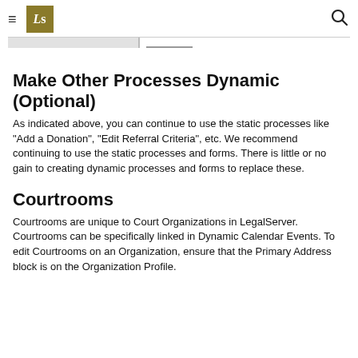LS [logo] [hamburger menu] [search icon]
Make Other Processes Dynamic (Optional)
As indicated above, you can continue to use the static processes like "Add a Donation", "Edit Referral Criteria", etc. We recommend continuing to use the static processes and forms. There is little or no gain to creating dynamic processes and forms to replace these.
Courtrooms
Courtrooms are unique to Court Organizations in LegalServer. Courtrooms can be specifically linked in Dynamic Calendar Events. To edit Courtrooms on an Organization, ensure that the Primary Address block is on the Organization Profile.